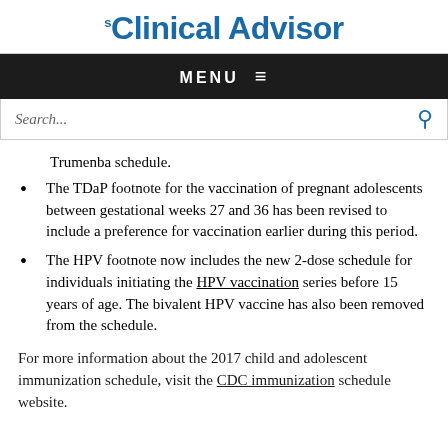Clinical Advisor
MENU ☰
Search...
Trumenba schedule.
The TDaP footnote for the vaccination of pregnant adolescents between gestational weeks 27 and 36 has been revised to include a preference for vaccination earlier during this period.
The HPV footnote now includes the new 2-dose schedule for individuals initiating the HPV vaccination series before 15 years of age. The bivalent HPV vaccine has also been removed from the schedule.
For more information about the 2017 child and adolescent immunization schedule, visit the CDC immunization schedule website.